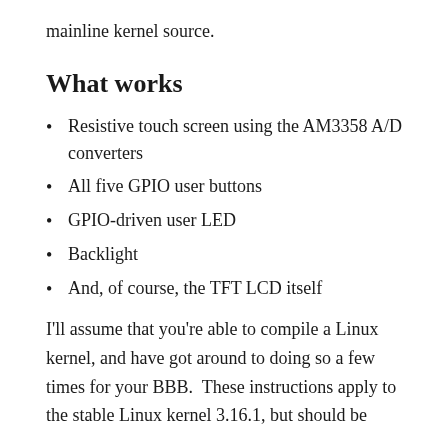mainline kernel source.
What works
Resistive touch screen using the AM3358 A/D converters
All five GPIO user buttons
GPIO-driven user LED
Backlight
And, of course, the TFT LCD itself
I'll assume that you're able to compile a Linux kernel, and have got around to doing so a few times for your BBB.  These instructions apply to the stable Linux kernel 3.16.1, but should be